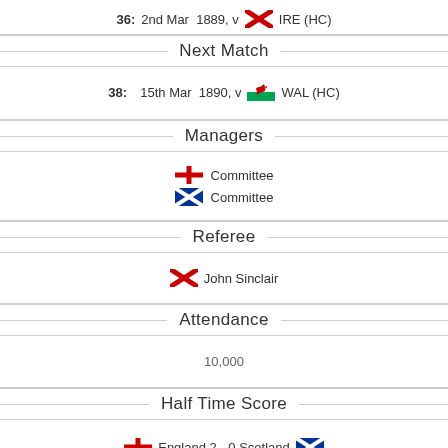36: 2nd Mar 1889, v IRE (HC)
Next Match
38: 15th Mar 1890, v WAL (HC)
Managers
Committee (England)
Committee (Scotland)
Referee
John Sinclair
Attendance
10,000
Half Time Score
England 2 - 0 Scotland